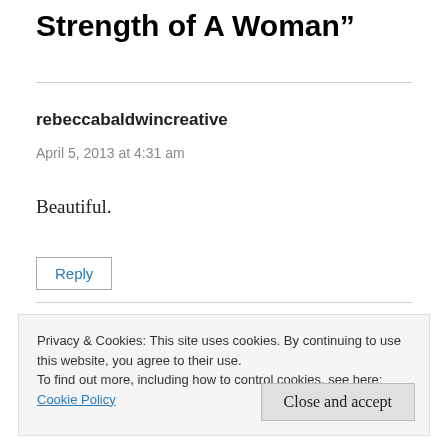Strength of A Woman”
rebeccabaldwincreative
April 5, 2013 at 4:31 am
Beautiful.
Reply
Privacy & Cookies: This site uses cookies. By continuing to use this website, you agree to their use.
To find out more, including how to control cookies, see here:
Cookie Policy
Close and accept